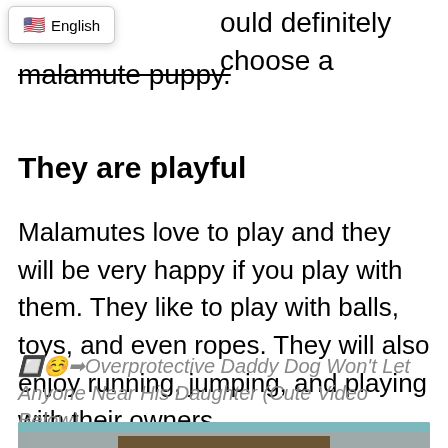ould definitely choose a
malamute puppy.
They are playful
Malamutes love to play and they will be very happy if you play with them. They like to play with balls, toys, and even ropes. They will also enjoy running, jumping, and playing with their owners.
🔲☺️➡Overprotective Daddy Dog Won't Let Anyone Near His Daughter (Cute Video Below)
[Figure (photo): Photo of a dog, partially visible at the bottom of the page]